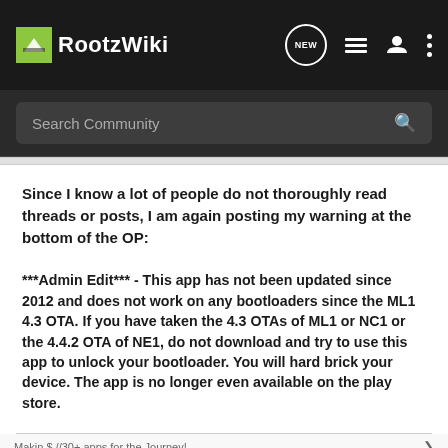RootzWiki — navigation header with search bar
Since I know a lot of people do not thoroughly read threads or posts, I am again posting my warning at the bottom of the OP:
***Admin Edit*** - This app has not been updated since 2012 and does not work on any bootloaders since the ML1 4.3 OTA. If you have taken the 4.3 OTAs of ML1 or NC1 or the 4.4.2 OTA of NE1, do not download and try to use this app to unlock your bootloader. You will hard brick your device. The app is no longer even available on the play store.
Makin $ //30+ apps for the Journey!